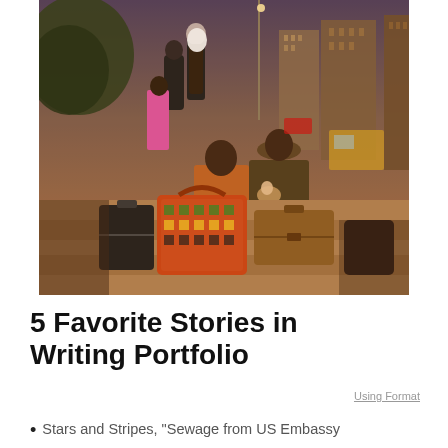[Figure (photo): A street photography scene showing people sitting on steps with luggage including a colorful African print bag and a vintage suitcase, with a city skyline and buildings in the background, warm evening light]
5 Favorite Stories in Writing Portfolio
Using Format
Stars and Stripes, "Sewage from US Embassy